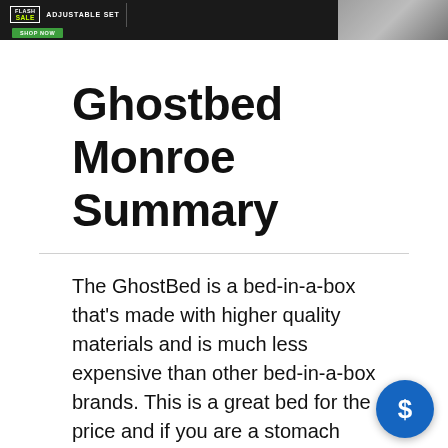[Figure (other): Advertisement banner with dark background showing 'FLASH SALE ADJUSTABLE SET SHOP NOW' text and a mattress image on the right]
Ghostbed Monroe Summary
The GhostBed is a bed-in-a-box that's made with higher quality materials and is much less expensive than other bed-in-a-box brands. This is a great bed for the price and if you are a stomach sleeper or a hot sleeper, it could be a good choice for yo